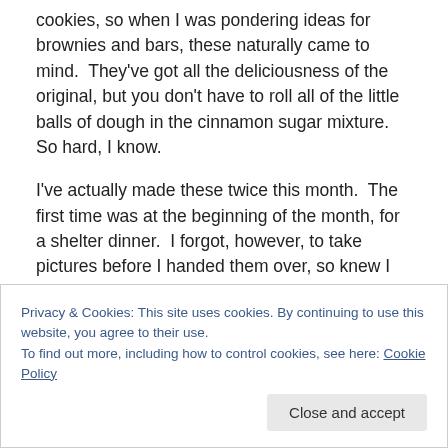cookies, so when I was pondering ideas for brownies and bars, these naturally came to mind.  They've got all the deliciousness of the original, but you don't have to roll all of the little balls of dough in the cinnamon sugar mixture.  So hard, I know.
I've actually made these twice this month.  The first time was at the beginning of the month, for a shelter dinner.  I forgot, however, to take pictures before I handed them over, so knew I was destined to make them again.  Yesterday while running errands, I realized that I was
Privacy & Cookies: This site uses cookies. By continuing to use this website, you agree to their use.
To find out more, including how to control cookies, see here: Cookie Policy